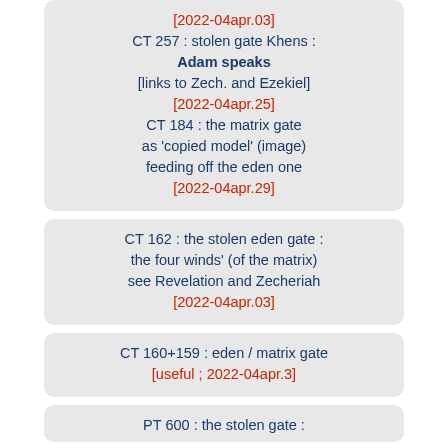[2022-04apr.03] CT 257 : stolen gate Khens : Adam speaks [links to Zech. and Ezekiel] [2022-04apr.25] CT 184 : the matrix gate as 'copied model' (image) feeding off the eden one [2022-04apr.29]
CT 162 : the stolen eden gate : the four winds' (of the matrix) see Revelation and Zecheriah [2022-04apr.03]
CT 160+159 : eden / matrix gate [useful ; 2022-04apr.3]
PT 600 : the stolen gate :